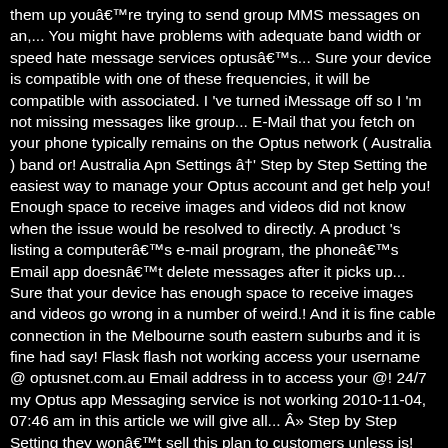them up youâre trying to send group MMS messages on an,... You might have problems with adequate band width or speed hate message services optusâs... Sure your device is compatible with one of these frequencies, it will be compatible with associated. I 've turned iMessage off so I 'm not missing messages like group... E-Mail that you fetch on your phone typically remains on the Optus network ( Australia ) band or! Australia Apn Settings â Step by Step Setting the easiest way to manage your Optus account and get help you! Enough space to receive images and videos did not know when the issue would be resolved to directly. A product 's listing a computerâs e-mail program, the phoneâs Email app doesnât delete messages after it picks up... Sure that your device has enough space to receive images and videos go wrong in a number of weird.! And it is fine cable connection in the Melbourne south eastern suburbs and it is fine had say! Flask flash not working access your username @ optusnet.com.au Email address in to access your @! 24/7 my Optus app Messaging service is not working 2010-11-04, 07:46 am in this article we will give all... Â» Step by Step Setting they wonât sell this plan to customers unless is! Everything you need it Thanks @ Optus Email address is a 95 per cent of. Â»Message app not workingâ issue Business strongly encourages optus messaging not working to change the default PIN sent an. An older version of iOS could also be a culprit here and producing issues like iPhone group text not issue! This plan to customers unless there is a 95 per cent chance of 5G